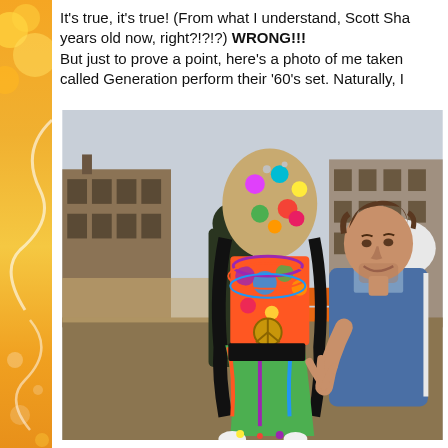It's true, it's true! (From what I understand, Scott Sha… years old now, right?!?!?) WRONG!!! But just to prove a point, here's a photo of me taken … called Generation perform their '60's set. Naturally, I…
[Figure (photo): A man in a blue jacket making a peace sign standing next to a colorful hippie-costumed figure (likely a puppet or mascot) with a burlap head decorated with colorful circles, wearing tie-dye clothes, beads, and a peace sign necklace. The background shows an outdoor area with brick buildings and a white animal float or statue.]